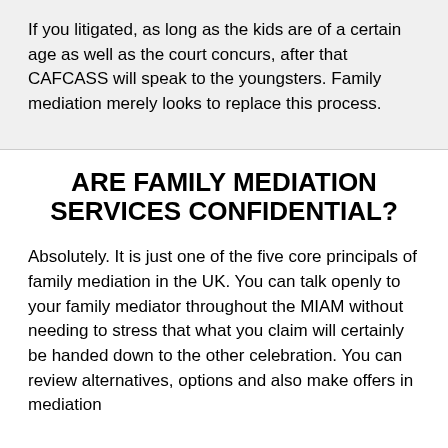If you litigated, as long as the kids are of a certain age as well as the court concurs, after that CAFCASS will speak to the youngsters. Family mediation merely looks to replace this process.
ARE FAMILY MEDIATION SERVICES CONFIDENTIAL?
Absolutely. It is just one of the five core principals of family mediation in the UK. You can talk openly to your family mediator throughout the MIAM without needing to stress that what you claim will certainly be handed down to the other celebration. You can review alternatives, options and also make offers in mediation